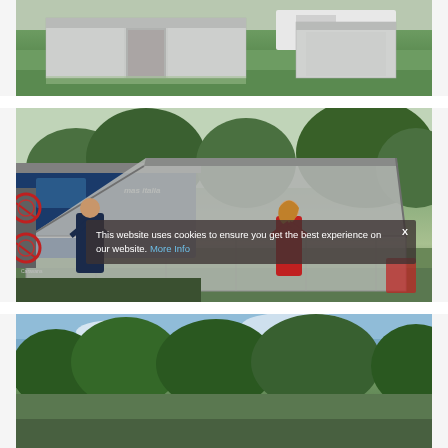[Figure (photo): A tent or awning structure set up on green grass, with a caravan or RV partially visible in the background. The awning/tent appears to be a grey fabric structure with screened panels.]
[Figure (photo): Two people (a man in dark blue shirt and a woman in red shirt) setting up or adjusting a large grey awning attached to a blue camper van or motorhome. Red bicycles are visible on a rear bike rack. Green trees in the background.]
This website uses cookies to ensure you get the best experience on our website. More Info
[Figure (photo): Outdoor scene with blue sky, trees, and greenery — partial view of the bottom of the page, appears to show a camping or outdoor area.]